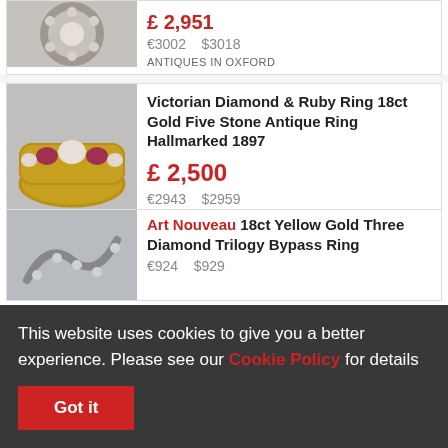[Figure (photo): Antique ring with diamonds in circular setting on grey background — top card image]
€3002    $3018
ANTIQUES IN OXFORD
[Figure (photo): Victorian gold ring with ruby and diamond stones on grey background]
Victorian Diamond & Ruby Ring 18ct Gold Five Stone Antique Ring Hallmarked 1897
£ 2,500
€2943    $2959
THE CHELSEA BIJOUTERIE
[Figure (photo): Art Nouveau diamond trilogy bypass ring — partially visible]
Art Nouveau 18ct Yellow Gold Three Diamond Trilogy Bypass Ring
€924    $929
This website uses cookies to give you a better experience. Please see our Cookie Policy for details